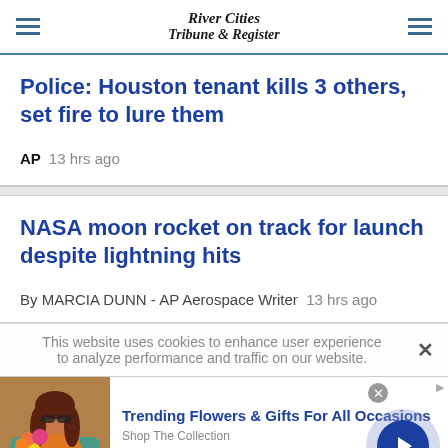River Cities Tribune & Register
Police: Houston tenant kills 3 others, set fire to lure them
AP  13 hrs ago
NASA moon rocket on track for launch despite lightning hits
By MARCIA DUNN - AP Aerospace Writer  13 hrs ago
This website uses cookies to enhance user experience to analyze performance and traffic on our website.
[Figure (advertisement): Infolinks ad for 1800flowers.com: Trending Flowers & Gifts For All Occasions. Shop The Collection. www.1800flowers.com. Features a woman holding flowers.]